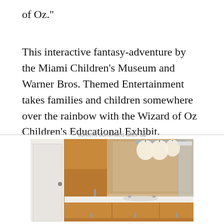of Oz."
This interactive fantasy-adventure by the Miami Children's Museum and Warner Bros. Themed Entertainment takes families and children somewhere over the rainbow with the Wizard of Oz Children's Educational Exhibit.
content continues after ad
[Figure (photo): Interior bathroom photo showing wooden cabinets, a large mirror, vanity with sink, and overhead lighting fixtures]